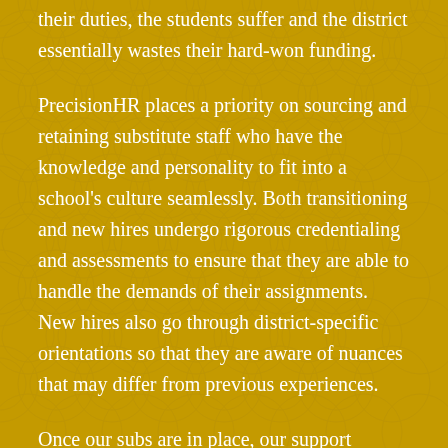their duties, the students suffer and the district essentially wastes their hard-won funding.
PrecisionHR places a priority on sourcing and retaining substitute staff who have the knowledge and personality to fit into a school's culture seamlessly. Both transitioning and new hires undergo rigorous credentialing and assessments to ensure that they are able to handle the demands of their assignments. New hires also go through district-specific orientations so that they are aware of nuances that may differ from previous experiences.
Once our subs are in place, our support continues. We facilitate opportunities for professional